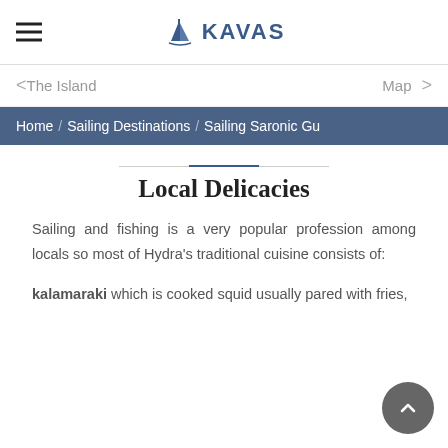KAVAS
< The Island   Map >
Home / Sailing Destinations / Sailing Saronic Gu
Local Delicacies
Sailing and fishing is a very popular profession among locals so most of Hydra's traditional cuisine consists of:
kalamaraki which is cooked squid usually pared with fries,